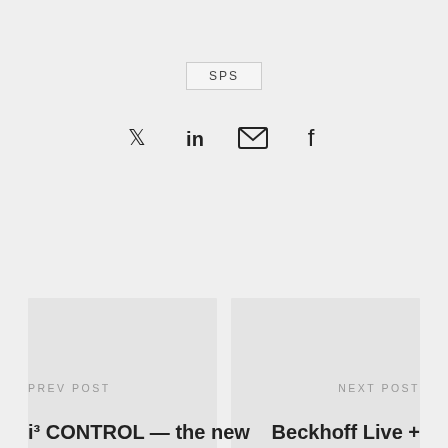SPS
[Figure (infographic): Social media share icons: Twitter bird, LinkedIn 'in', email envelope, Facebook 'f']
[Figure (photo): Two placeholder image cards side by side]
PREV POST
i³ CONTROL — the new
NEXT POST
Beckhoff Live +